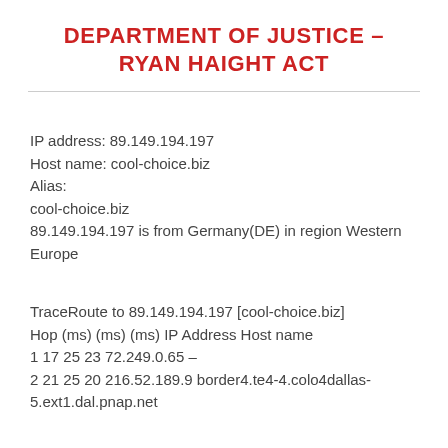DEPARTMENT OF JUSTICE – RYAN HAIGHT ACT
IP address: 89.149.194.197
Host name: cool-choice.biz
Alias:
cool-choice.biz
89.149.194.197 is from Germany(DE) in region Western Europe
TraceRoute to 89.149.194.197 [cool-choice.biz]
Hop (ms) (ms) (ms) IP Address Host name
1 17 25 23 72.249.0.65 –
2 21 25 20 216.52.189.9 border4.te4-4.colo4dallas-5.ext1.dal.pnap.net